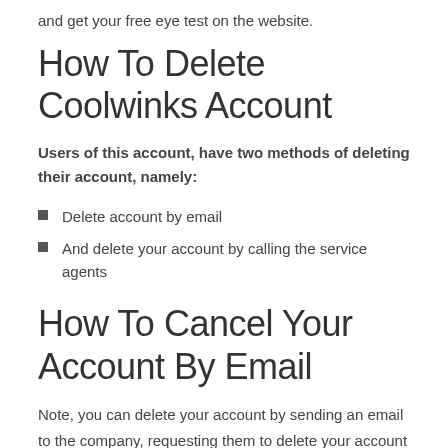and get your free eye test on the website.
How To Delete Coolwinks Account
Users of this account, have two methods of deleting their account, namely:
Delete account by email
And delete your account by calling the service agents
How To Cancel Your Account By Email
Note, you can delete your account by sending an email to the company, requesting them to delete your account from